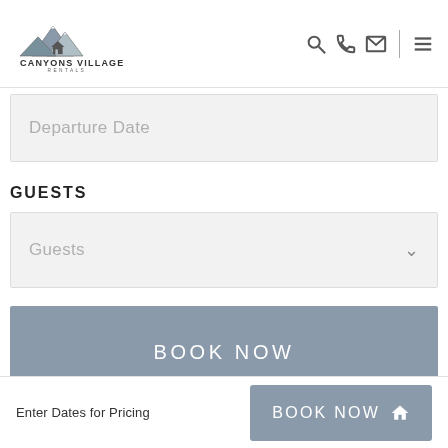[Figure (logo): Canyons Village Rentals logo with mountain illustration and text]
Departure Date
GUESTS
Guests
BOOK NOW
QUESTIONS?
Enter Dates for Pricing
BOOK NOW